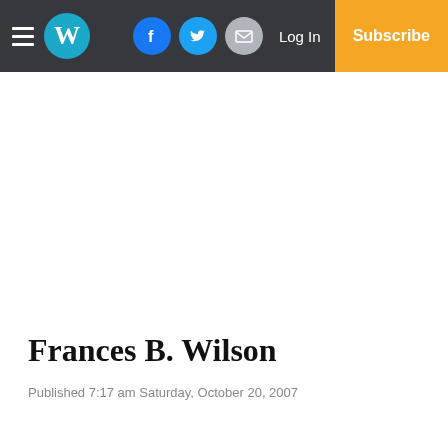W | Log In | Subscribe
Frances B. Wilson
Published 7:17 am Saturday, October 20, 2007